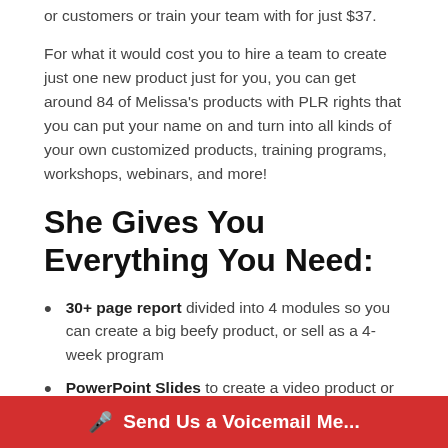or customers or train your team with for just $37.
For what it would cost you to hire a team to create just one new product just for you, you can get around 84 of Melissa’s products with PLR rights that you can put your name on and turn into all kinds of your own customized products, training programs, workshops, webinars, and more!
She Gives You Everything You Need:
30+ page report divided into 4 modules so you can create a big beefy product, or sell as a 4-week program
PowerPoint Slides to create a video product or host a webinar or for your live presentation
Guest Handout to give to your webinar guests or to add to your f...
Send Us a Voicemail Me...